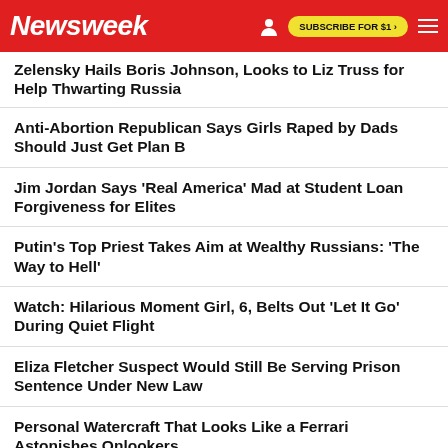Newsweek | SUBSCRIBE FOR $1 >
Zelensky Hails Boris Johnson, Looks to Liz Truss for Help Thwarting Russia
Anti-Abortion Republican Says Girls Raped by Dads Should Just Get Plan B
Jim Jordan Says 'Real America' Mad at Student Loan Forgiveness for Elites
Putin's Top Priest Takes Aim at Wealthy Russians: 'The Way to Hell'
Watch: Hilarious Moment Girl, 6, Belts Out 'Let It Go' During Quiet Flight
Eliza Fletcher Suspect Would Still Be Serving Prison Sentence Under New Law
Personal Watercraft That Looks Like a Ferrari Astonishes Onlookers